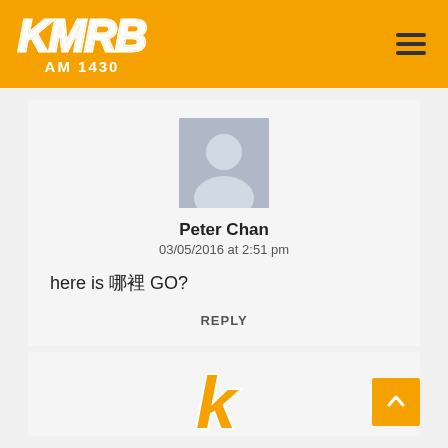KMRB AM 1430
[Figure (illustration): Default user avatar silhouette in gray square]
Peter Chan
03/05/2016 at 2:51 pm
here is 哪裡 GO?
REPLY
[Figure (logo): KMRB K letter logo in orange with white stroke]